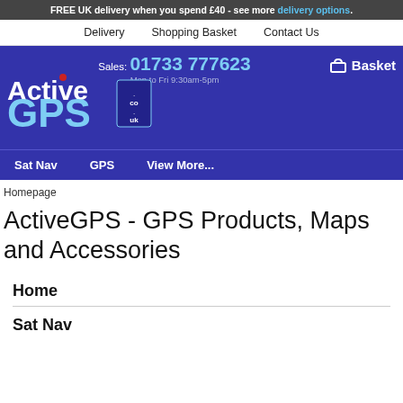FREE UK delivery when you spend £40 - see more delivery options.
Delivery   Shopping Basket   Contact Us
[Figure (logo): ActiveGPS.co.uk logo on blue background with phone number Sales: 01733 777623, Mon to Fri 9:30am-5pm, and Basket icon. Navigation: Sat Nav, GPS, View More...]
Homepage
ActiveGPS - GPS Products, Maps and Accessories
Home
Sat Nav